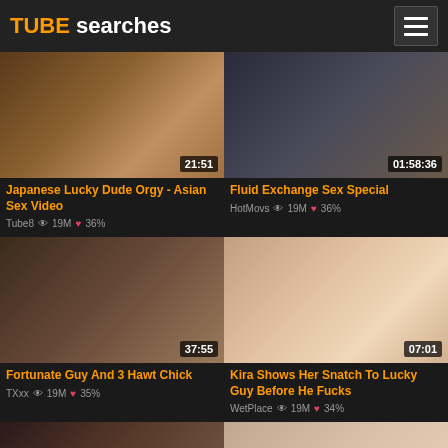TUBE searches
[Figure (screenshot): Video thumbnail for Japanese Lucky Dude Orgy - Asian Sex Video, duration 21:51]
Japanese Lucky Dude Orgy - Asian Sex Video
Tube8  19M  36%
[Figure (screenshot): Video thumbnail for Fluid Exchange Sex Special, duration 01:58:36]
Fluid Exchange Sex Special
HotMovs  19M  36%
[Figure (screenshot): Video thumbnail for Fortunate Guy And 3 Hawt Chick, duration 37:55]
Fortunate Guy And 3 Hawt Chick
TXxx  19M  35%
[Figure (screenshot): Video thumbnail for Kira Shows Her Snatch To Lucky Guy Before He Fucks, duration 07:01]
Kira Shows Her Snatch To Lucky Guy Before He Fucks
WetPlace  19M  34%
[Figure (screenshot): Partial video thumbnail, bottom row left]
[Figure (screenshot): Partial video thumbnail, bottom row right]